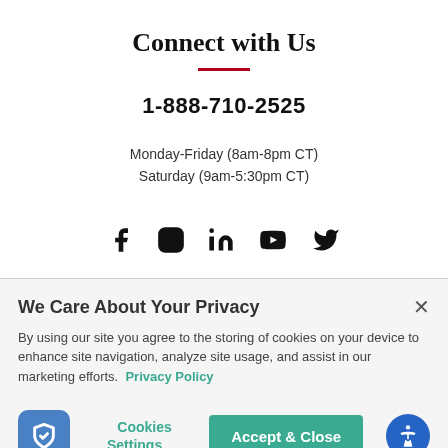Connect with Us
1-888-710-2525
Monday-Friday (8am-8pm CT)
Saturday (9am-5:30pm CT)
[Figure (infographic): Social media icons: Facebook, Instagram, LinkedIn, YouTube, Twitter]
We Care About Your Privacy
By using our site you agree to the storing of cookies on your device to enhance site navigation, analyze site usage, and assist in our marketing efforts. Privacy Policy
Cookies Settings
Accept & Close